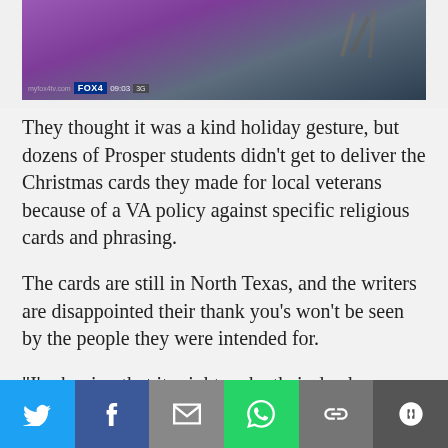[Figure (screenshot): FOX4 news TV screenshot showing a person in purple writing, with FOX4 news lower-third graphic and myfox4tv.com watermark]
They thought it was a kind holiday gesture, but dozens of Prosper students didn't get to deliver the Christmas cards they made for local veterans because of a VA policy against specific religious cards and phrasing.
The cards are still in North Texas, and the writers are disappointed their thank you's won't be seen by the people they were intended for.
"I'm hoping that it might make their day because their family might live far away, and they might not have somebody to celebrate Christmas with and I'd like them to know they've not been forgotten and somebody wanted to
[Figure (infographic): Social media share bar with Twitter, Facebook, Email, WhatsApp, Link, and More buttons]